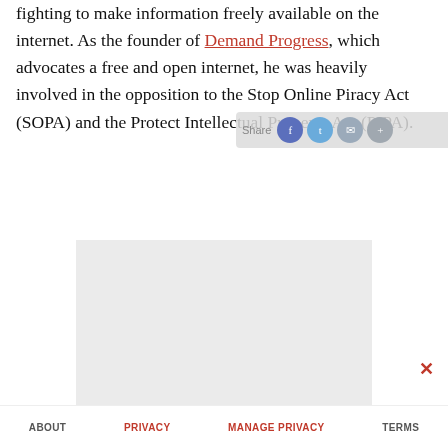fighting to make information freely available on the internet. As the founder of Demand Progress, which advocates a free and open internet, he was heavily involved in the opposition to the Stop Online Piracy Act (SOPA) and the Protect Intellectual Property Act (PIPA).
[Figure (other): Social share bar overlay with Share label and circular buttons for Facebook, Twitter, email, and add/plus]
[Figure (other): Gray advertisement placeholder box]
[Figure (other): Red close (X) button]
ABOUT   PRIVACY   MANAGE PRIVACY   TERMS